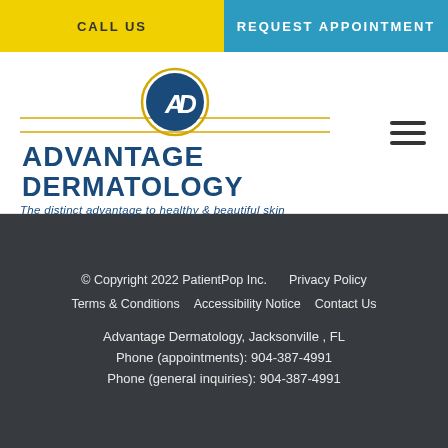CALL US | REQUEST APPOINTMENT
[Figure (logo): Advantage Dermatology logo with circular AD emblem and tagline: The distinct advantage to healthy & beautiful skin]
© Copyright 2022 PatientPop Inc.   Privacy Policy   Terms & Conditions   Accessibility Notice   Contact Us   Advantage Dermatology, Jacksonville , FL   Phone (appointments): 904-387-4991   Phone (general inquiries): 904-387-4991